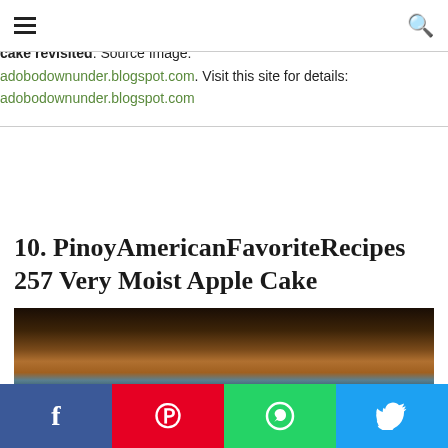≡  🔍
Best Moist Apple Cake Recipe from adobo down under Moist apple cake revisited. Source Image: adobodownunder.blogspot.com. Visit this site for details: adobodownunder.blogspot.com
10. PinoyAmericanFavoriteRecipes 257 Very Moist Apple Cake
[Figure (photo): Photo of a moist apple cake, dark background]
f | p | WhatsApp | Twitter social share buttons